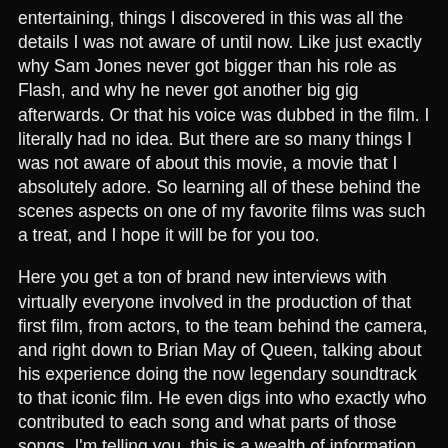entertaining, things I discovered in this was all the details I was not aware of until now. Like just exactly why Sam Jones never got bigger than his role as Flash, and why he never got another big gig afterwards. Or that his voice was dubbed in the film. I literally had no idea. But there are so many things I was not aware of about this movie, a movie that I absolutely adore. So learning all of these behind the scenes aspects on one of my favorite films was such a treat, and I hope it will be for you too.
Here you get a ton of brand new interviews with virtually everyone involved in the production of that first film, from actors, to the team behind the camera, and right down to Brian May of Queen, talking about his experience doing the now legendary soundtrack to that iconic film. He even digs into who exactly who contributed to each song and what parts of those songs. I'm telling you, this is a wealth of information regarding all things Flash Gordon The Movie and if you've ever been a fan, this is something you need to watch. And lucky for you, it's now available for free on Amazon Prime right now.